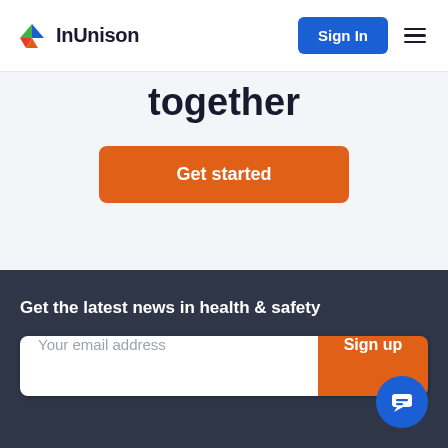[Figure (logo): InUnison logo with colorful triangular icon and text 'InUnison']
Sign In
together
Get started
Get the latest news in health & safety
Your email address
Sign up